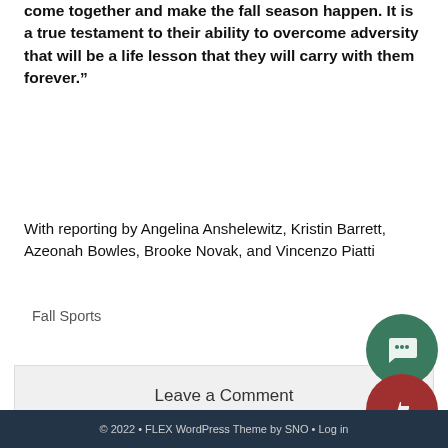come together and make the fall season happen. It is a true testament to their ability to overcome adversity that will be a life lesson that they will carry with them forever.”
With reporting by Angelina Anshelewitz, Kristin Barrett, Azeonah Bowles, Brooke Novak, and Vincenzo Piatti
Fall Sports
Leave a Comment
© 2022 • FLEX WordPress Theme by SNO • Log in